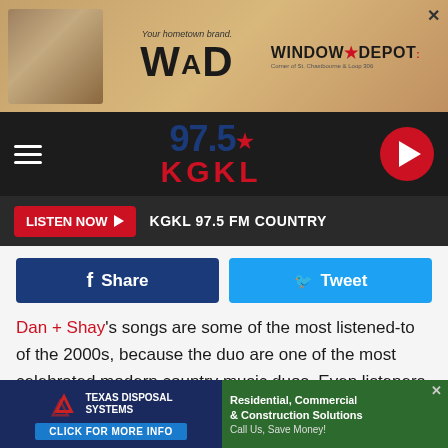[Figure (screenshot): Window Depot advertisement banner with room photo and logo]
[Figure (logo): 97.5 KGKL FM Country radio station logo and navigation bar with hamburger menu and play button]
LISTEN NOW ▶  KGKL 97.5 FM COUNTRY
[Figure (infographic): Facebook Share and Twitter Tweet social sharing buttons]
Dan + Shay's songs are some of the most listened-to of the 2000s, because the duo are one of the most celebrated modern country music duos. Even listeners from different genres have become fans!
Every time Dan Smyers and Shay Mooney perform — be it at the 2019 Grammy Awards or on Ellen — people take notice. With each album, Mooney and Smyers have honed
[Figure (screenshot): Texas Disposal Systems advertisement at bottom of page with 'Click for More Info' button; right side green ad for Residential, Commercial & Construction Solutions]